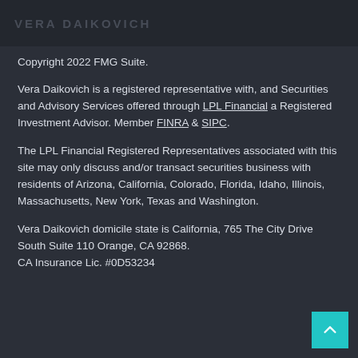VERA DAIKOVICH
Copyright 2022 FMG Suite.
Vera Daikovich is a registered representative with, and Securities and Advisory Services offered through LPL Financial a Registered Investment Advisor. Member FINRA & SIPC.
The LPL Financial Registered Representatives associated with this site may only discuss and/or transact securities business with residents of Arizona, California, Colorado, Florida, Idaho, Illinois, Massachusetts, New York, Texas and Washington.
Vera Daikovich domicile state is California, 765 The City Drive South Suite 110 Orange, CA 92868. CA Insurance Lic. #0D53234